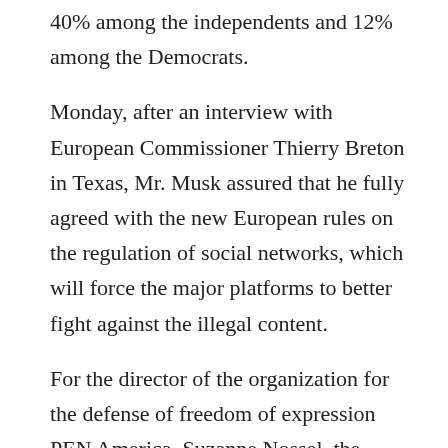40% among the independents and 12% among the Democrats.
Monday, after an interview with European Commissioner Thierry Breton in Texas, Mr. Musk assured that he fully agreed with the new European rules on the regulation of social networks, which will force the major platforms to better fight against the illegal content.
For the director of the organization for the defense of freedom of expression PEN America, Suzanne Nossel, the businessman must clarify his message.
“Is he saying that nothing Trump or anyone else might tweet would be grounds for permanent dismissal? (…) Is he saying that a sitting president inciting his supporters to violence or insurrection is an acceptable practice on Twitter?” she wondered.
In a letter last week to advertisers on the social network, a coalition led by Media Matters for America, Access Now and Ultraviolet, told them: “Under Musk’s control, Twitter risks becoming a cesspool of